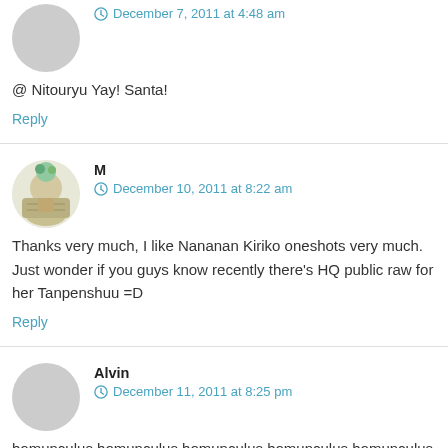December 7, 2011 at 4:48 am
@ Nitouryu Yay! Santa!
Reply
M
December 10, 2011 at 8:22 am
Thanks very much, I like Nananan Kiriko oneshots very much. Just wonder if you guys know recently there's HQ public raw for her Tanpenshuu =D
Reply
Alvin
December 11, 2011 at 8:25 pm
homunculus homunculus homunculus homunculus homunculus homunculus homunculus